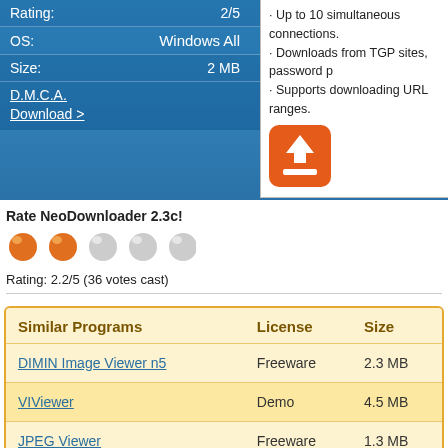|  |  |
| --- | --- |
| Rating: | 2/5 |
| OS: | Windows All |
| Size: | 2 MB |
D.M.C.A.
Download >
· Up to 10 simultaneous connections.
· Downloads from TGP sites, password p
· Supports downloading URL ranges.
[Figure (logo): Orange rounded square icon with white downward arrow and tray symbol]
Rate NeoDownloader 2.3c!
[Figure (other): 5 rating balls: 2 orange filled, 3 grey empty]
Rating: 2.2/5 (36 votes cast)
| Similar Programs | License | Size |
| --- | --- | --- |
| DIMIN Image Viewer n5 | Freeware | 2.3 MB |
| VIViewer | Demo | 4.5 MB |
| JPEG Viewer | Freeware | 1.3 MB |
| ICCAD | Trial | 7.4 MB |